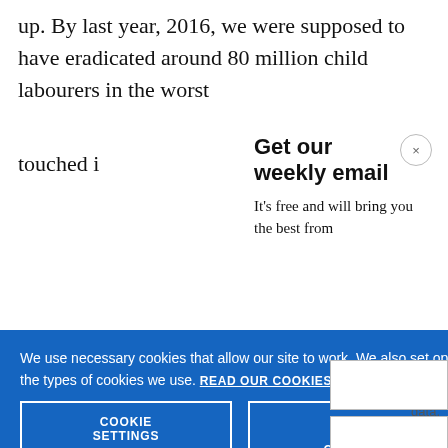up. By last year, 2016, we were supposed to have eradicated around 80 million child labourers in the worst [forms. Those goals have not been] touched [by…]
Get our weekly email
It's free and will bring you the best from
We use necessary cookies that allow our site to work. We also set optional cookies that help us improve our website. For more information about the types of cookies we use. READ OUR COOKIES POLICY HERE
COOKIE SETTINGS
ALLOW ALL COOKIES
data.
nature o